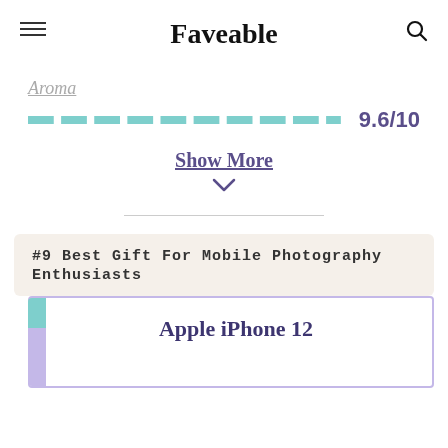Faveable
Aroma
9.6/10
Show More
#9 Best Gift For Mobile Photography Enthusiasts
Apple iPhone 12